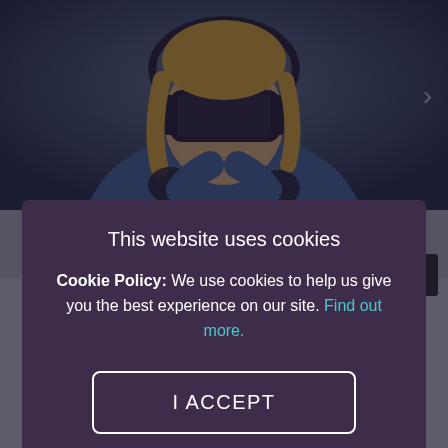[Figure (photo): A person wearing a VR headset and holding controllers, photographed against a dark blue background. A right-pointing arrow chevron is visible on the right side of the image.]
This website uses cookies
Cookie Policy: We use cookies to help us give you the best experience on our site. Find out more.
I ACCEPT
I DO NOT ACCEPT
technology to transport you to over different 50 themes, whether you fancy a spot of zombie shooting, escape room-solving or walking with dinosaurs.